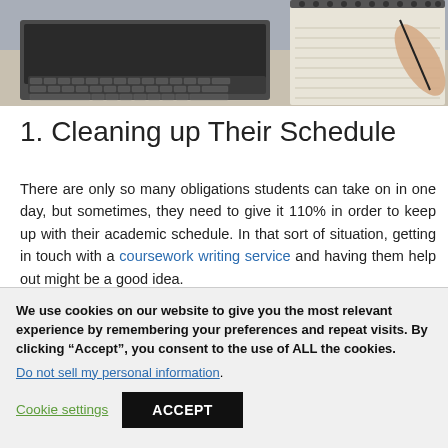[Figure (photo): Photo of a laptop keyboard and a spiral notebook with a hand holding a pen, viewed from above.]
1. Cleaning up Their Schedule
There are only so many obligations students can take on in one day, but sometimes, they need to give it 110% in order to keep up with their academic schedule. In that sort of situation, getting in touch with a coursework writing service and having them help out might be a good idea.
We use cookies on our website to give you the most relevant experience by remembering your preferences and repeat visits. By clicking “Accept”, you consent to the use of ALL the cookies.
Do not sell my personal information.
Cookie settings  ACCEPT